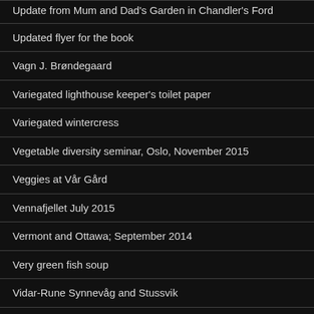Update from Mum and Dad's Garden in Chandler's Ford
Updated flyer for the book
Vagn J. Brøndegaard
Variegated lighthouse keeper's toilet paper
Variegated wintercress
Vegetable diversity seminar, Oslo, November 2015
Veggies at Vår Gård
Vennafjellet July 2015
Vermont and Ottawa; September 2014
Very green fish soup
Vidar-Rune Synnevåg and Stussvik
Video from the Arctic Food Festival in September 2014
Visit from Ås 16-17th May 2015